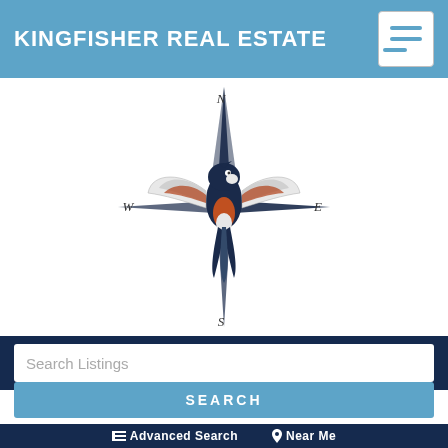KINGFISHER REAL ESTATE
[Figure (logo): Kingfisher Real Estate compass logo featuring a kingfisher bird with spread wings at the center of a compass rose with N, S, E, W labels]
Search Listings
SEARCH
Advanced Search   Near Me
3737 CHIQUITA BLVD S